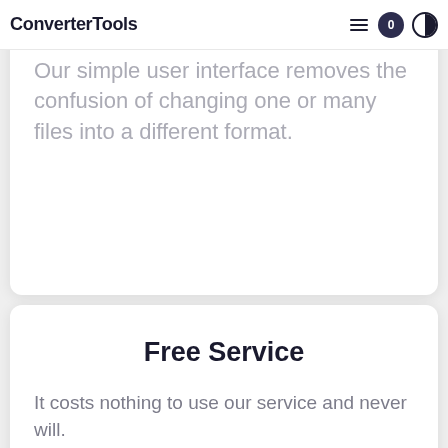ConverterTools
Our simple user interface removes the confusion of changing one or many files into a different format.
Free Service
It costs nothing to use our service and never will.